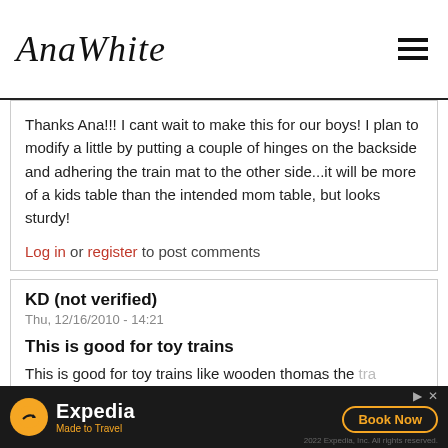AnaWhite
Thanks Ana!!! I cant wait to make this for our boys! I plan to modify a little by putting a couple of hinges on the backside and adhering the train mat to the other side...it will be more of a kids table than the intended mom table, but looks sturdy!
Log in or register to post comments
KD (not verified)
Thu, 12/16/2010 - 14:21
This is good for toy trains
This is good for toy trains like wooden thomas the tra... Alt... ht
[Figure (other): Expedia advertisement banner: orange circle with plane icon, 'Expedia Made to Travel' text, 'Book Now' button, '2022 Expedia, Inc. All rights reserved.' text]